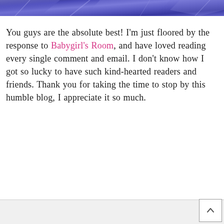[Figure (photo): Partial view of a shiny blue/purple metallic or foil surface, cropped at top of page]
You guys are the absolute best! I'm just floored by the response to Babygirl's Room, and have loved reading every single comment and email. I don't know how I got so lucky to have such kind-hearted readers and friends. Thank you for taking the time to stop by this humble blog, I appreciate it so much.